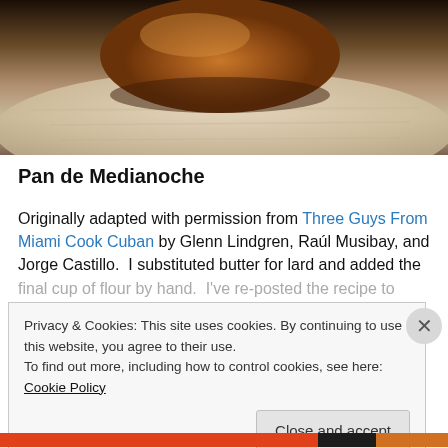[Figure (photo): Close-up photo of a golden-brown bread roll (Pan de Medianoche) resting on a light wooden cutting board, dark background]
Pan de Medianoche
Originally adapted with permission from Three Guys From Miami Cook Cuban by Glenn Lindgren, Raúl Musibay, and Jorge Castillo.  I substituted butter for lard and added the final cup of flour by hand.  I've re-posted the recipe to
Privacy & Cookies: This site uses cookies. By continuing to use this website, you agree to their use.
To find out more, including how to control cookies, see here: Cookie Policy